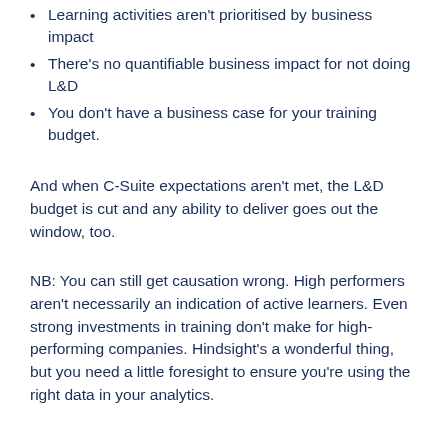Learning activities aren't prioritised by business impact
There's no quantifiable business impact for not doing L&D
You don't have a business case for your training budget.
And when C-Suite expectations aren't met, the L&D budget is cut and any ability to deliver goes out the window, too.
NB: You can still get causation wrong. High performers aren't necessarily an indication of active learners. Even strong investments in training don't make for high-performing companies. Hindsight's a wonderful thing, but you need a little foresight to ensure you're using the right data in your analytics.
The number one way to solidify causation in your L&D efforts
In our experience, we've found that since the very